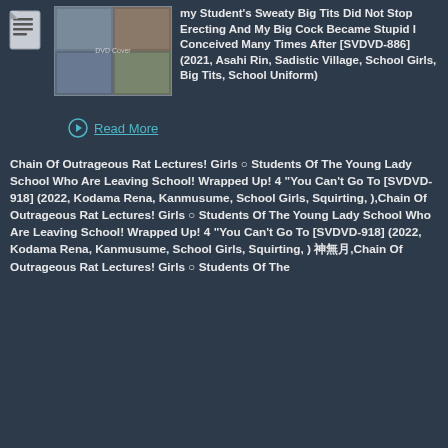[Figure (illustration): Document/file icon in top-left area]
[Figure (photo): Thumbnail image of DVD cover]
my Student's Sweaty Big Tits Did Not Stop Erecting And My Big Cock Became Stupid I Conceived Many Times After [SVDVD-886] (2021, Asahi Rin, Sadistic Village, School Girls, Big Tits, School Uniform)
Read More
Chain Of Outrageous Rat Lectures! Girls ○ Students Of The Young Lady School Who Are Leaving School! Wrapped Up! 4 "You Can't Go To [SVDVD-918] (2022, Kodama Rena, Kanmusume, School Girls, Squirting, ),Chain Of Outrageous Rat Lectures! Girls ○ Students Of The Young Lady School Who Are Leaving School! Wrapped Up! 4 "You Can't Go To [SVDVD-918] (2022, Kodama Rena, Kanmusume, School Girls, Squirting, ) 神無月,Chain Of Outrageous Rat Lectures! Girls ○ Students Of The